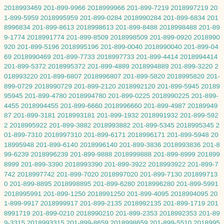2018993469 201-899-9966 2018999966 201-899-7219 2018997219 201-899-5959 2018995959 201-899-0284 2018990284 201-899-6834 2018996834 201-899-8613 2018998613 201-899-8488 2018998488 201-899-1774 2018991774 201-899-8509 2018998509 201-899-0920 2018990920 201-899-5196 2018995196 201-899-0040 2018990040 201-899-0469 2018990469 201-899-7733 2018997733 201-899-4414 2018994414 201-899-5372 2018995372 201-899-4889 2018994889 201-899-3220 2018993220 201-899-6807 2018996807 201-899-5820 2018995820 201-899-0729 2018990729 201-899-2120 2018992120 201-899-5945 2018995945 201-899-4780 2018994780 201-899-0225 2018990225 201-899-4455 2018994455 201-899-6660 2018996660 201-899-4987 2018994987 201-899-3181 2018993181 201-899-1932 2018991932 201-899-5922 2018995922 201-899-3882 2018993882 201-899-5345 2018995345 201-899-7310 2018997310 201-899-6171 2018996171 201-899-5948 2018995948 201-899-6140 2018996140 201-899-3836 2018993836 201-899-6239 2018996239 201-899-9888 2018999888 201-899-8999 2018998999 201-899-3390 2018993390 201-899-3922 2018993922 201-899-7742 2018997742 201-899-7020 2018997020 201-899-7130 2018997130 201-899-8895 2018998895 201-899-6280 2018996280 201-899-5991 2018995991 201-899-1250 2018991250 201-899-4095 2018994095 201-899-9917 2018999917 201-899-2135 2018992135 201-899-1719 2018991719 201-899-0210 2018990210 201-899-2353 2018992353 201-899-3315 2018993315 201-899-8659 2018998659 201-899-5510 2018995510 201-899-0292 2018990292 201-899-2649 2018992649 201-899-9010 2018999010 201-899-5158 2018995158 201-899-9633 2018999633 201-899-2334 2018992334 201-899-9827 2018999827 201-899-9109 2018999109 201-